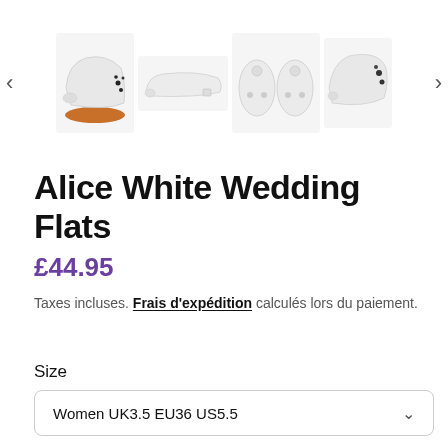[Figure (photo): Product image gallery showing Alice White Wedding Flats from multiple angles: side view with orange sole, flat side profile, top-down pair view, and angled view. Navigation arrows on left and right.]
Alice White Wedding Flats
£44.95
Taxes incluses. Frais d'expédition calculés lors du paiement.
Size
Women UK3.5 EU36 US5.5